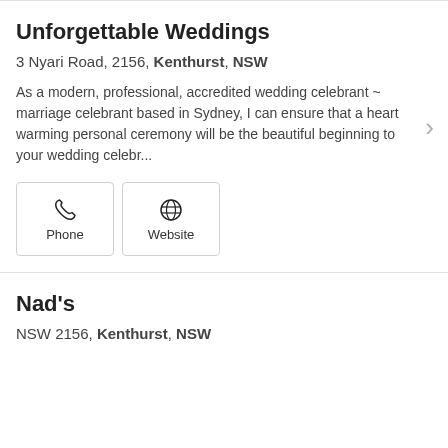Unforgettable Weddings
3 Nyari Road, 2156, Kenthurst, NSW
As a modern, professional, accredited wedding celebrant ~ marriage celebrant based in Sydney, I can ensure that a heart warming personal ceremony will be the beautiful beginning to your wedding celebr...
[Figure (infographic): Two buttons: Phone (phone icon) and Website (globe icon)]
Nad's
NSW 2156, Kenthurst, NSW